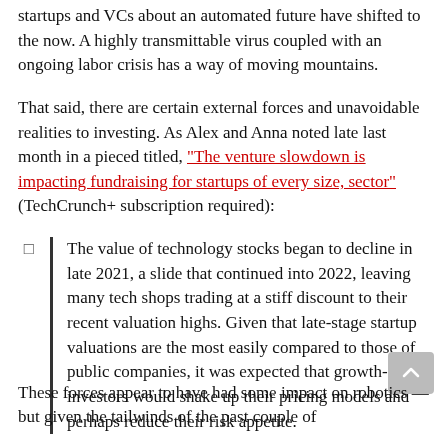startups and VCs about an automated future have shifted to the now. A highly transmittable virus coupled with an ongoing labor crisis has a way of moving mountains.
That said, there are certain external forces and unavoidable realities to investing. As Alex and Anna noted late last month in a pieced titled, "The venture slowdown is impacting fundraising for startups of every size, sector" (TechCrunch+ subscription required):
The value of technology stocks began to decline in late 2021, a slide that continued into 2022, leaving many tech shops trading at a stiff discount to their recent valuation highs. Given that late-stage startup valuations are the most easily compared to those of public companies, it was expected that growth-stage investors would shake up their pricing models and perhaps reduce their risk appetite.
These forces appear to have had some impact on robotics — but given the tailwinds of the past couple of